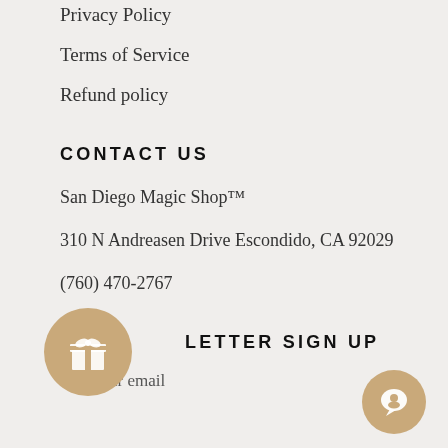Privacy Policy
Terms of Service
Refund policy
CONTACT US
San Diego Magic Shop™
310 N Andreasen Drive Escondido, CA 92029
(760) 470-2767
NEWSLETTER SIGN UP
Your email
[Figure (illustration): Circular tan/gold button with a gift box icon]
[Figure (illustration): Circular tan/gold chat bubble button]